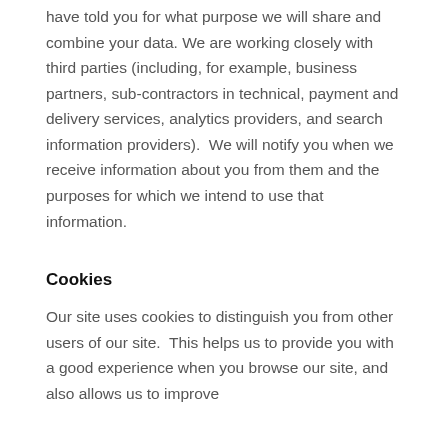have told you for what purpose we will share and combine your data. We are working closely with third parties (including, for example, business partners, sub-contractors in technical, payment and delivery services, analytics providers, and search information providers).  We will notify you when we receive information about you from them and the purposes for which we intend to use that information.
Cookies
Our site uses cookies to distinguish you from other users of our site.  This helps us to provide you with a good experience when you browse our site, and also allows us to improve